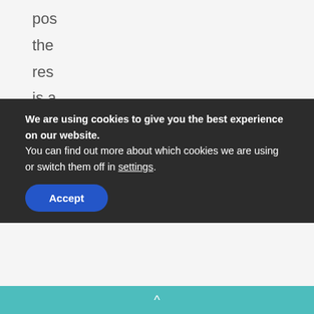pos
the
res
is a
spa
tha
is
calr
CEN
AM
· C
We are using cookies to give you the best experience on our website.
You can find out more about which cookies we are using or switch them off in settings.
Accept
^